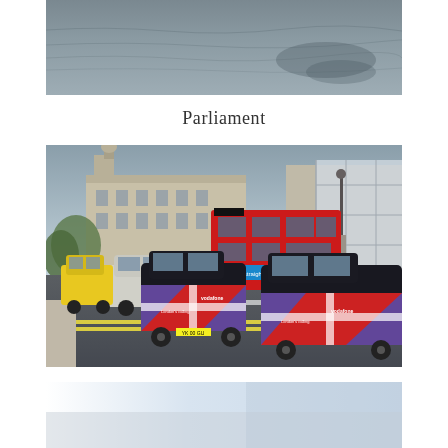[Figure (photo): Top portion of a photo showing a grey water surface, likely the River Thames]
Parliament
[Figure (photo): Street scene near Parliament in London showing red double-decker buses and black London taxis decorated with Union Jack Vodafone livery, with a grand classical building (likely the Treasury) in the background]
[Figure (photo): Bottom portion of another photo, partially visible, showing a light-coloured scene]